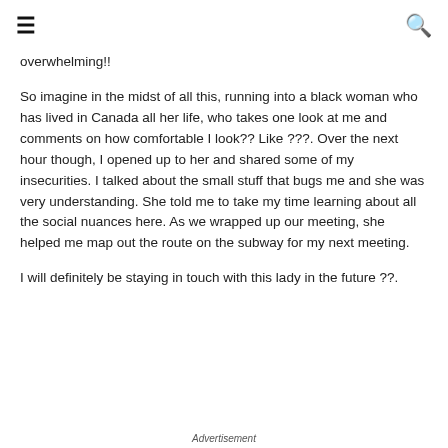≡  🔍
overwhelming!!
So imagine in the midst of all this, running into a black woman who has lived in Canada all her life, who takes one look at me and comments on how comfortable I look?? Like ???. Over the next hour though, I opened up to her and shared some of my insecurities. I talked about the small stuff that bugs me and she was very understanding. She told me to take my time learning about all the social nuances here. As we wrapped up our meeting, she helped me map out the route on the subway for my next meeting.
I will definitely be staying in touch with this lady in the future ??.
Advertisement